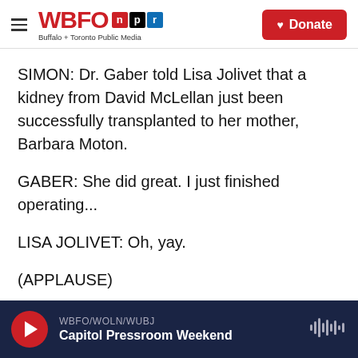WBFO npr — Buffalo + Toronto Public Media | Donate
SIMON: Dr. Gaber told Lisa Jolivet that a kidney from David McLellan just been successfully transplanted to her mother, Barbara Moton.
GABER: She did great. I just finished operating...
LISA JOLIVET: Oh, yay.
(APPLAUSE)
GABER: The kidney looks beautiful. And everything went fantastic.
WBFO/WOLN/WUBJ — Capitol Pressroom Weekend